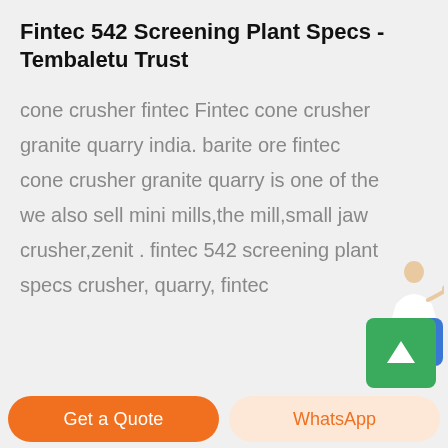Fintec 542 Screening Plant Specs - Tembaletu Trust
cone crusher fintec Fintec cone crusher granite quarry india. barite ore fintec cone crusher granite quarry is one of the we also sell mini mills,the mill,small jaw crusher,zenit . fintec 542 screening plant specs crusher, quarry, fintec
[Figure (illustration): Customer service person illustration with blue 'Free chat' button widget on right side]
[Figure (illustration): Green scroll-to-top button with upward arrow]
Get a Quote
WhatsApp